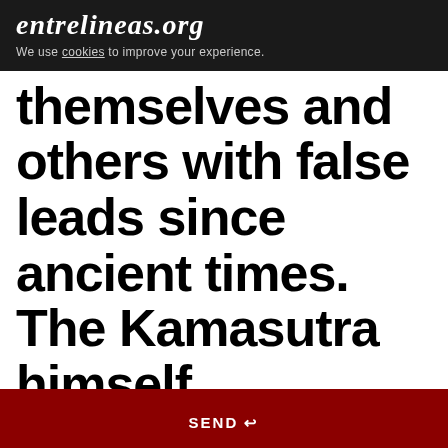entrelineas.org
We use cookies to improve your experience.
themselves and others with false leads since ancient times. The Kamasutra himself persuades the reader to
SEND ↩